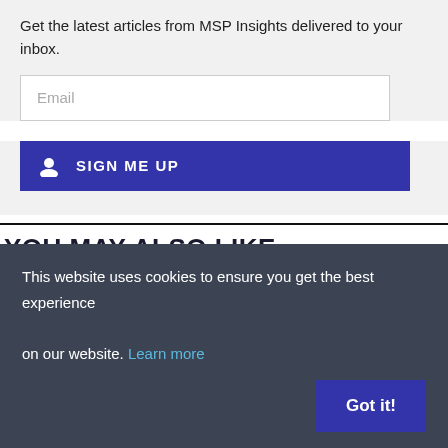Get the latest articles from MSP Insights delivered to your inbox.
Email
SIGN ME UP
YOU MAY ALSO LIKE...
Pricing Made MSPeasy
This website uses cookies to ensure you get the best experience on our website. Learn more
Got it!